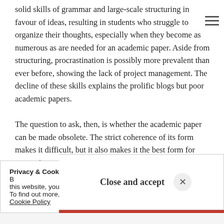solid skills of grammar and large-scale structuring in favour of ideas, resulting in students who struggle to organize their thoughts, especially when they become as numerous as are needed for an academic paper. Aside from structuring, procrastination is possibly more prevalent than ever before, showing the lack of project management. The decline of these skills explains the prolific blogs but poor academic papers.
The question to ask, then, is whether the academic paper can be made obsolete. The strict coherence of its form makes it difficult, but it also makes it the best form for presenting research findings, among other categories of
Privacy & Cookies: This site uses cookies. By continuing to use this website, you agree to their use. To find out more, including how to control cookies, see here: Cookie Policy
Close and accept